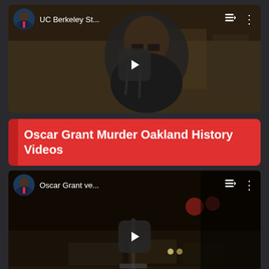[Figure (screenshot): YouTube video thumbnail showing a man with glasses and dark beard, with video title 'UC Berkeley St...' and avatar of a news presenter in top-left corner. Play button overlay visible.]
Oscar Grant Murder Oakland History Videos
[Figure (screenshot): YouTube video thumbnail showing street scene at night with cars, video title 'Oscar Grant ve...' and avatar of a news presenter in top-left corner. Play button overlay visible.]